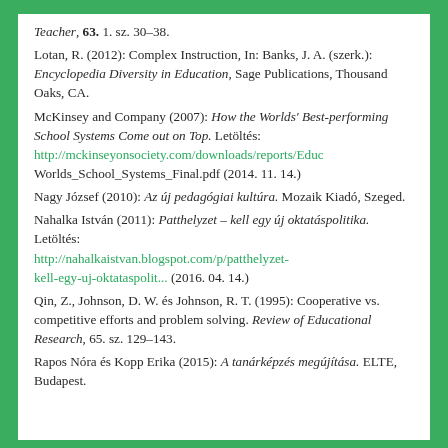Teacher, 63. 1. sz. 30–38.
Lotan, R. (2012): Complex Instruction, In: Banks, J. A. (szerk.): Encyclopedia Diversity in Education, Sage Publications, Thousand Oaks, CA.
McKinsey and Company (2007): How the Worlds' Best-performing School Systems Come out on Top. Letöltés: http://mckinseyonsociety.com/downloads/reports/Educ Worlds_School_Systems_Final.pdf (2014. 11. 14.)
Nagy József (2010): Az új pedagógiai kultúra. Mozaik Kiadó, Szeged.
Nahalka István (2011): Patthelyzet – kell egy új oktatáspolitika. Letöltés: http://nahalkaistvan.blogspot.com/p/patthelyzet-kell-egy-uj-oktataspolit... (2016. 04. 14.)
Qin, Z., Johnson, D. W. és Johnson, R. T. (1995): Cooperative vs. competitive efforts and problem solving. Review of Educational Research, 65. sz. 129–143.
Rapos Nóra és Kopp Erika (2015): A tanárképzés megújítása. ELTE, Budapest.